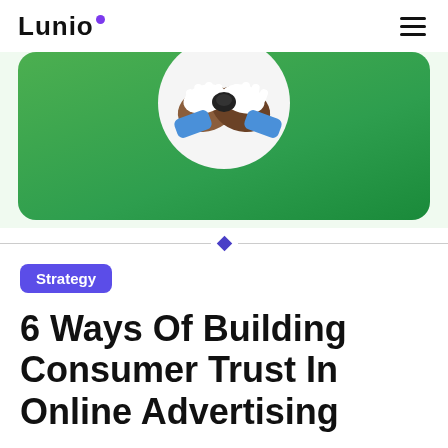Lunio
[Figure (illustration): Hero banner with green rounded rectangle background containing a circular illustration of two hands shaking (handshake icon) with brown, white, and blue colors. White background at top with Lunio logo.]
Strategy
6 Ways Of Building Consumer Trust In Online Advertising